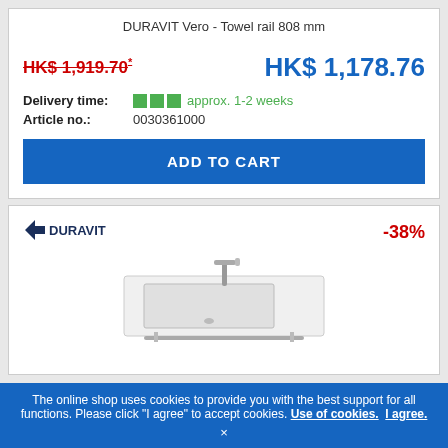DURAVIT Vero - Towel rail 808 mm
HK$ 1,919.70*
HK$ 1,178.76
Delivery time: approx. 1-2 weeks
Article no.: 0030361000
ADD TO CART
[Figure (logo): DURAVIT brand logo]
-38%
[Figure (photo): Duravit Vero sink/washbasin with faucet and towel rail]
The online shop uses cookies to provide you with the best support for all functions. Please click "I agree" to accept cookies. Use of cookies. I agree. ×